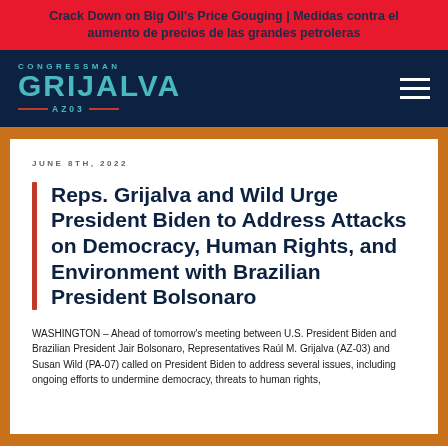Crack Down on Big Oil's Price Gouging | Medidas contra el aumento de precios de las grandes petroleras
[Figure (logo): Congressman Grijalva AZ03 logo on dark navy background with hamburger menu icon]
JUNE 8TH, 2022
Reps. Grijalva and Wild Urge President Biden to Address Attacks on Democracy, Human Rights, and Environment with Brazilian President Bolsonaro
WASHINGTON – Ahead of tomorrow's meeting between U.S. President Biden and Brazilian President Jair Bolsonaro, Representatives Raúl M. Grijalva (AZ-03) and Susan Wild (PA-07) called on President Biden to address several issues, including ongoing efforts to undermine democracy, threats to human rights,